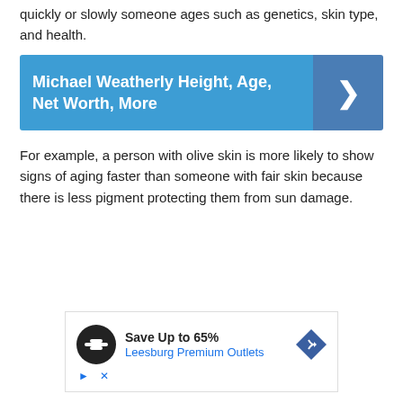quickly or slowly someone ages such as genetics, skin type, and health.
[Figure (infographic): Blue banner link box with text 'Michael Weatherly Height, Age, Net Worth, More' and a right-pointing chevron arrow on the right side]
For example, a person with olive skin is more likely to show signs of aging faster than someone with fair skin because there is less pigment protecting them from sun damage.
[Figure (infographic): Advertisement box: 'Save Up to 65% Leesburg Premium Outlets' with a circular black logo icon and a blue diamond-shaped arrow icon, with play and close controls below]